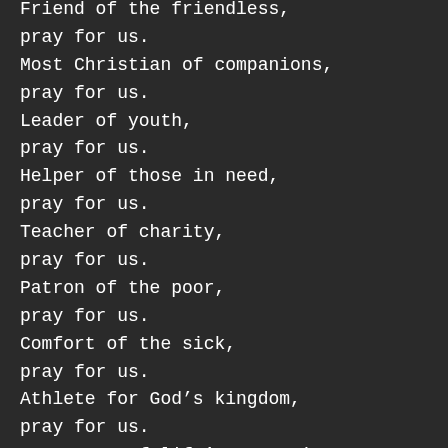Friend of the friendless, pray for us.
Most Christian of companions, pray for us.
Leader of youth, pray for us.
Helper of those in need, pray for us.
Teacher of charity, pray for us.
Patron of the poor, pray for us.
Comfort of the sick, pray for us.
Athlete for God's kingdom, pray for us.
Conqueror of life's mountains, pray for us.
Defender of truth and virtue,